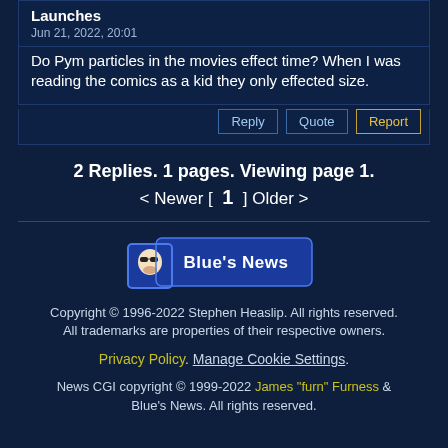Launches
Jun 21, 2022, 20:01
Do Pym particles in the movies effect time? When I was reading the comics as a kid they only effected size.
Reply | Quote | Report
2 Replies. 1 pages. Viewing page 1.
< Newer [ 1 ] Older >
[Figure (logo): Blue's News logo with cartoon character mascot]
Copyright © 1996-2022 Stephen Heaslip. All rights reserved.
All trademarks are properties of their respective owners.
Privacy Policy. Manage Cookie Settings.
News CGI copyright © 1999-2022 James "furn" Furness & Blue's News. All rights reserved.